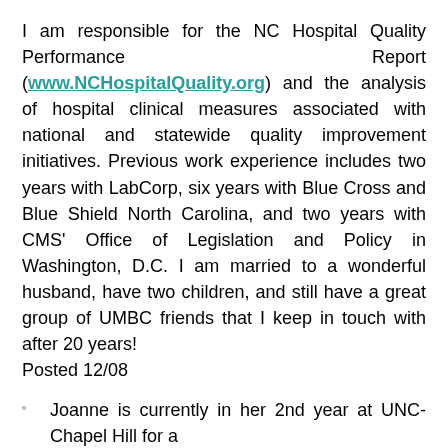I am responsible for the NC Hospital Quality Performance Report (www.NCHospitalQuality.org) and the analysis of hospital clinical measures associated with national and statewide quality improvement initiatives. Previous work experience includes two years with LabCorp, six years with Blue Cross and Blue Shield North Carolina, and two years with CMS' Office of Legislation and Policy in Washington, D.C. I am married to a wonderful husband, have two children, and still have a great group of UMBC friends that I keep in touch with after 20 years! Posted 12/08
Joanne is currently in her 2nd year at UNC-Chapel Hill for a Ph.D. in Health and Pharmaceutical Policy & Evaluation. After receiving a